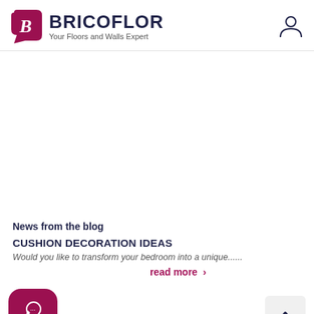[Figure (logo): Bricoflor logo with pink speech-bubble B icon, bold dark navy BRICOFLOR text, and tagline 'Your Floors and Walls Expert']
[Figure (illustration): User/person icon (head and shoulders outline) in top right corner]
[Figure (illustration): Large white content area (likely a banner/image area, blank in this render)]
News from the blog
CUSHION DECORATION IDEAS
Would you like to transform your bedroom into a unique......
read more  >
[Figure (illustration): Pink rounded button with chat/phone icon in bottom left]
[Figure (illustration): Light grey rounded button with upward chevron arrow for scroll-to-top in bottom right]